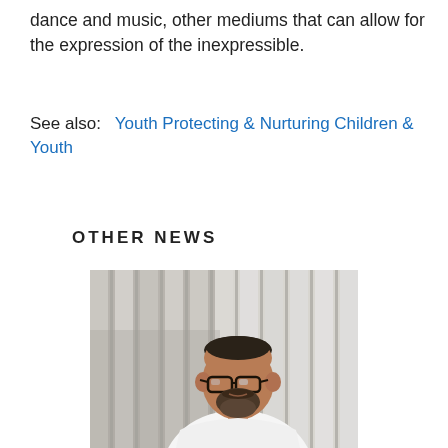dance and music, other mediums that can allow for the expression of the inexpressible.
See also:  Youth Protecting & Nurturing Children & Youth
OTHER NEWS
[Figure (photo): A middle-aged man with glasses and a beard wearing a white polo shirt, standing in front of vertical blinds or curtains.]